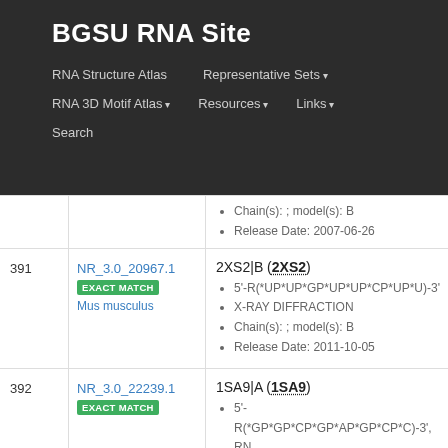BGSU RNA Site
RNA Structure Atlas
Representative Sets ▾
RNA 3D Motif Atlas ▾
Resources ▾
Links ▾
Search
| # | ID | Info |
| --- | --- | --- |
|  |  | Chain(s): ; model(s): B
Release Date: 2007-06-26 |
| 391 | NR_3.0_20967.1
EXACT MATCH
Mus musculus | 2XS2|B (2XS2)
5'-R(*UP*UP*GP*UP*UP*CP*UP*U)-3'
X-RAY DIFFRACTION
Chain(s): ; model(s): B
Release Date: 2011-10-05 |
| 392 | NR_3.0_22239.1
EXACT MATCH | 1SA9|A (1SA9)
5'-R(*GP*GP*CP*GP*AP*GP*CP*C)-3', RN
X-RAY DIFFRACTION
Chain(s): ; model(s): A
Release Date: 2004-05-18 |